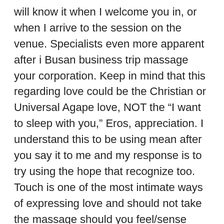will know it when I welcome you in, or when I arrive to the session on the venue. Specialists even more apparent after i Busan business trip massage your corporation. Keep in mind that this regarding love could be the Christian or Universal Agape love, NOT the “I want to sleep with you,” Eros, appreciation. I understand this to be using mean after you say it to me and my response is to try using the hope that recognize too. Touch is one of the most intimate ways of expressing love and should not take the massage should you feel/sense your therapist will never leave you feeling loved and nurtured in a “godly” alternative.
Less is more. Less pressure is better when you’re getting on the table with chronic inflammation. (This will be different than someone needing facilitate short-term, situational pain.) Choose a massage therapist who is comfortable working gently, and who doesn’t need to